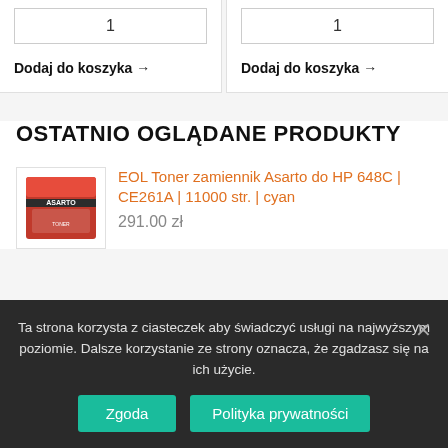1
Dodaj do koszyka →
1
Dodaj do koszyka →
OSTATNIO OGLĄDANE PRODUKTY
[Figure (photo): Product image of toner box - Asarto brand toner cartridge in red/black packaging]
EOL Toner zamiennik Asarto do HP 648C | CE261A | 11000 str. | cyan
291.00 zł
Ta strona korzysta z ciasteczek aby świadczyć usługi na najwyższym poziomie. Dalsze korzystanie ze strony oznacza, że zgadzasz się na ich użycie.
Zgoda
Polityka prywatności